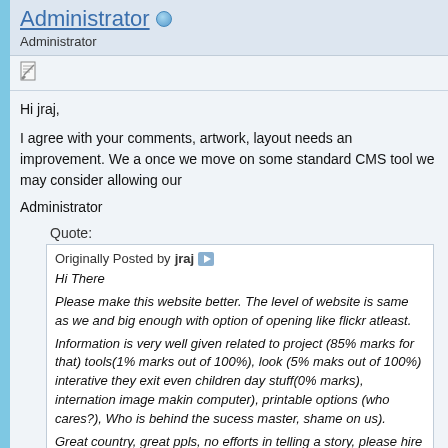Administrator
Administrator
Hi jraj,
I agree with your comments, artwork, layout needs an improvement. We a... once we move on some standard CMS tool we may consider allowing our...
Administrator
Quote:
Originally Posted by jraj
Hi There
Please make this website better. The level of website is same as we... and big enough with option of opening like flickr atleast.

Information is very well given related to project (85% marks for that)... tools(1% marks out of 100%), look (5% maks out of 100%) interative... they exit even children day stuff(0% marks), internation image makin... computer), printable options (who cares?), Who is behind the sucess... master, shame on us).
Great country, great ppls, no efforts in telling a story, please hire so...